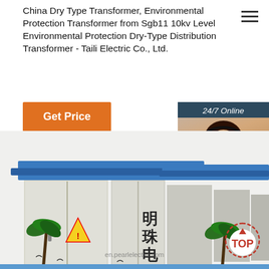China Dry Type Transformer, Environmental Protection Transformer from Sgb11 10kv Level Environmental Protection Dry-Type Distribution Transformer - Taili Electric Co., Ltd.
[Figure (screenshot): Orange 'Get Price' button]
[Figure (photo): 24/7 online chat agent panel with smiling woman in headset, dark blue background, 'Click here for free chat!' text, and orange QUOTATION button]
[Figure (photo): Product photo of a Sgb11 10kv environmental protection dry-type distribution transformer unit (substation box) with blue roof, white/grey panels, Chinese characters '明珠电气', palm tree graphics, and warning labels. Watermark: en.pearlelectric.com]
[Figure (infographic): Orange and white TOP badge/back-to-top button in bottom right corner]